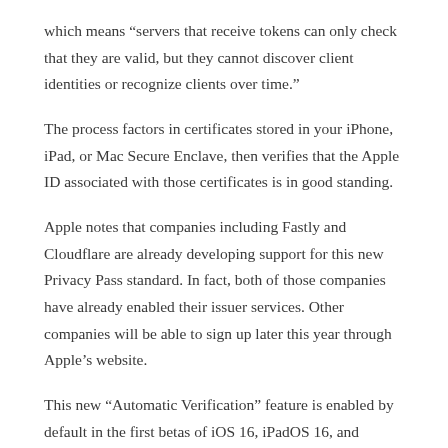which means “servers that receive tokens can only check that they are valid, but they cannot discover client identities or recognize clients over time.”
The process factors in certificates stored in your iPhone, iPad, or Mac Secure Enclave, then verifies that the Apple ID associated with those certificates is in good standing.
Apple notes that companies including Fastly and Cloudflare are already developing support for this new Privacy Pass standard. In fact, both of those companies have already enabled their issuer services. Other companies will be able to sign up later this year through Apple’s website.
This new “Automatic Verification” feature is enabled by default in the first betas of iOS 16, iPadOS 16, and macOS Ventura. You can find it by navigating to your Apple ID settings, choosing “Privacy and Security,” then looking for the new “Automatic Verification”